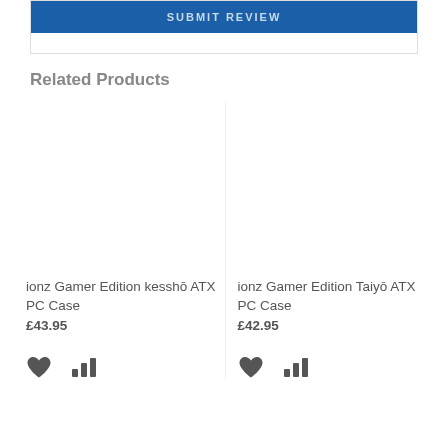SUBMIT REVIEW
Related Products
ionz Gamer Edition kesshō ATX PC Case
£43.95
ionz Gamer Edition Taiyō ATX PC Case
£42.95